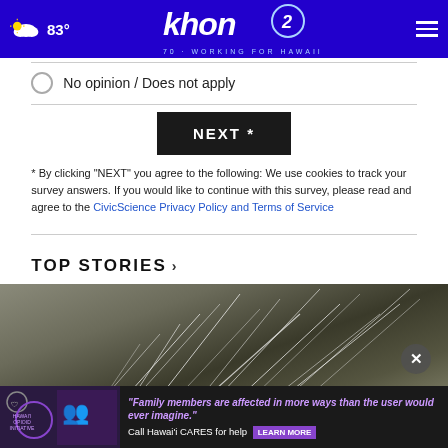83° khon2 WORKING FOR HAWAII
No opinion / Does not apply
NEXT *
* By clicking "NEXT" you agree to the following: We use cookies to track your survey answers. If you would like to continue with this survey, please read and agree to the CivicScience Privacy Policy and Terms of Service
TOP STORIES ›
[Figure (photo): Photo of dry grass or plant with thin white strands/fibers spread out, appearing dried and tangled]
[Figure (infographic): Ad banner: Hawaii Opioid Initiative. Quote: Family members are affected in more ways than the user would ever imagine. Call Hawai'i CARES for help. LEARN MORE button.]